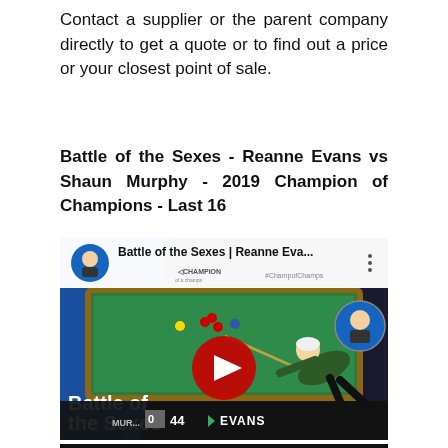Contact a supplier or the parent company directly to get a quote or to find out a price or your closest point of sale.
Battle of the Sexes - Reanne Evans vs Shaun Murphy - 2019 Champion of Champions - Last 16
[Figure (screenshot): YouTube video thumbnail showing a snooker match titled 'Battle of the Sexes | Reanne Eva...' with a Champion of Champions logo. A player leans over a green snooker table taking a shot. A large red YouTube play button is visible in the center. Text overlay reads 'Battle of the Sexes'. Score bar at the bottom shows MURPHY 0, 44, EVANS.]